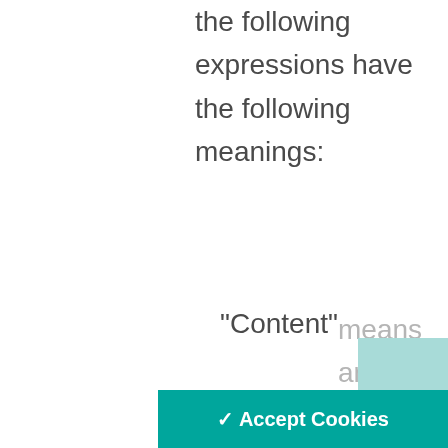the following expressions have the following meanings:
“Content”
means any and all tex images,
audio, video, scripts, code, software, databases and any
We use cookies to personalise content and analyse our traffic. We also share information about your use of our site with our analytics partners. You can find our more information and manage your cookie preferences here: Cookie Policy.
✓ Accept Cookies